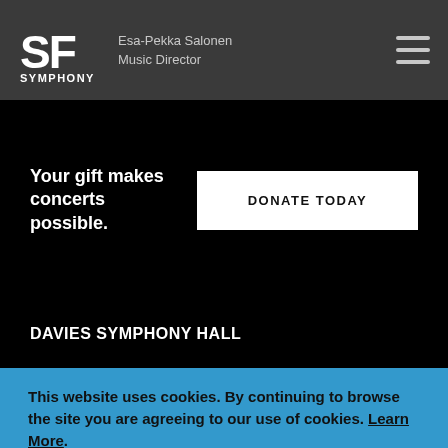SF SYMPHONY — Esa-Pekka Salonen Music Director
Your gift makes concerts possible.
DONATE TODAY
DAVIES SYMPHONY HALL
This website uses cookies. By continuing to browse the site you are agreeing to our use of cookies. Learn More.
ALLOW COOKIES